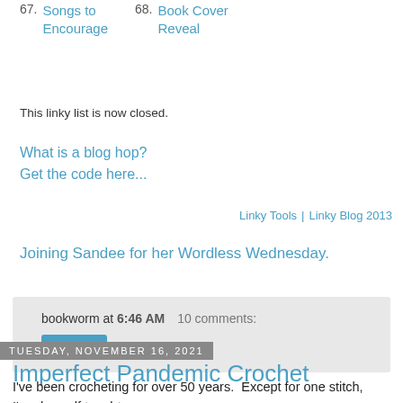67. Songs to Encourage
68. Book Cover Reveal
This linky list is now closed.
What is a blog hop?
Get the code here...
Linky Tools  |  Linky Blog 2013
Joining Sandee for her Wordless Wednesday.
bookworm at 6:46 AM    10 comments:
Share
Tuesday, November 16, 2021
Imperfect Pandemic Crochet
I've been crocheting for over 50 years.  Except for one stitch, I'm also self taught.